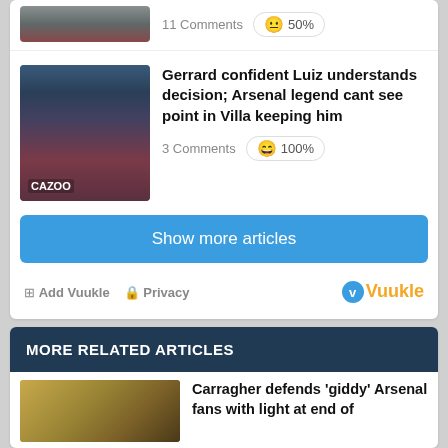11 Comments | 😐 50%
[Figure (photo): Football players in maroon/claret Aston Villa kit, CAZOO sponsor visible]
Gerrard confident Luiz understands decision; Arsenal legend cant see point in Villa keeping him
3 Comments | 😄 100%
Show more articles
Add Vuukle  Privacy  Vuukle
MORE RELATED ARTICLES
[Figure (photo): Man in suit, head shot, golden/yellow background]
Carragher defends 'giddy' Arsenal fans with light at end of